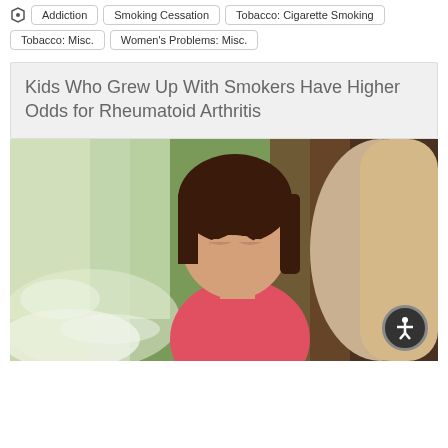Addiction | Smoking Cessation | Tobacco: Cigarette Smoking | Tobacco: Misc. | Women's Problems: Misc.
Kids Who Grew Up With Smokers Have Higher Odds for Rheumatoid Arthritis
[Figure (photo): A young child in a car seat covering her nose with her hand, appearing uncomfortable, with smoke visible in the car interior and sunlight outside the window.]